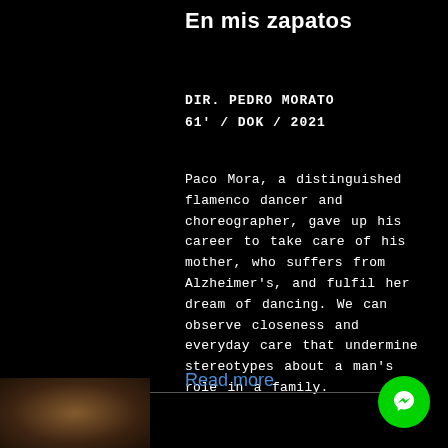En mis zapatos
DIR. PEDRO MORATO
61' / DOK / 2021
Paco Mora, a distinguished flamenco dancer and choreographer, gave up his career to take care of his mother, who suffers from Alzheimer's, and fulfil her dream of dancing. We can observe closeness and everyday care that undermine stereotypes about a man's role in a family.
Read more
[Figure (other): Messenger chat button (green circle with messenger icon)]
[Figure (photo): Partial image at bottom left, appears to be a dark artistic photograph]